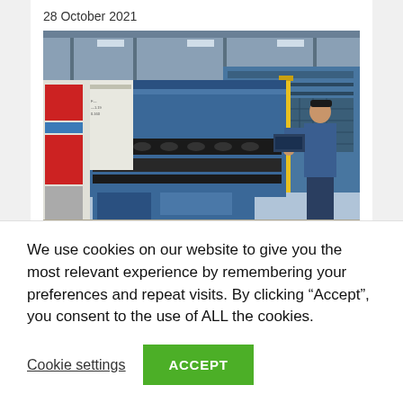28 October 2021
[Figure (photo): Factory floor photo showing industrial machinery with blue metallic frames, conveyor rollers, and a worker in blue clothing operating the equipment. Colorful striped panels visible on the left side.]
Contrinex inductive sensors check
We use cookies on our website to give you the most relevant experience by remembering your preferences and repeat visits. By clicking “Accept”, you consent to the use of ALL the cookies.
Cookie settings
ACCEPT